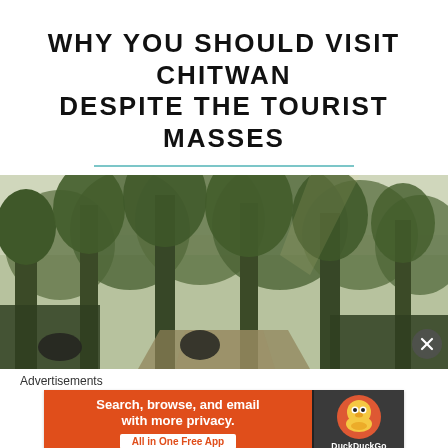WHY YOU SHOULD VISIT CHITWAN DESPITE THE TOURIST MASSES
[Figure (photo): Dense forest with tall green trees, misty light, path visible, people visible at bottom]
Advertisements
[Figure (infographic): DuckDuckGo advertisement banner: 'Search, browse, and email with more privacy. All in One Free App' with DuckDuckGo duck logo on dark right panel]